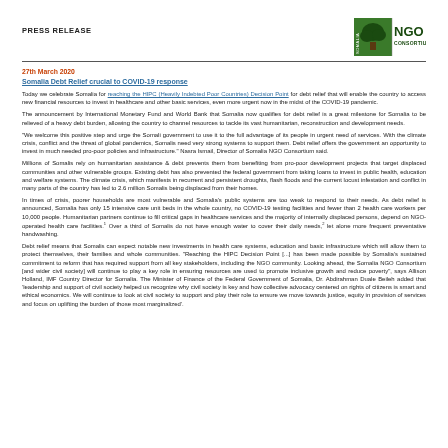PRESS RELEASE
[Figure (logo): Somalia NGO Consortium logo with tree graphic and text 'NGO CONSORTIUM']
27th March 2020
Somalia Debt Relief crucial to COVID-19 response
Today we celebrate Somalia for reaching the HIPC (Heavily Indebted Poor Countries) Decision Point for debt relief that will enable the country to access new financial resources to invest in healthcare and other basic services, even more urgent now in the midst of the COVID-19 pandemic.
The announcement by International Monetary Fund and World Bank that Somalia now qualifies for debt relief is a great milestone for Somalia to be relieved of a heavy debt burden, allowing the country to channel resources to tackle its vast humanitarian, reconstruction and development needs.
"We welcome this positive step and urge the Somali government to use it to the full advantage of its people in urgent need of services. With the climate crisis, conflict and the threat of global pandemics, Somalis need very strong systems to support them. Debt relief offers the government an opportunity to invest in much needed pro-poor policies and infrastructure." Nasra Ismail, Director of Somalia NGO Consortium said.
Millions of Somalis rely on humanitarian assistance & debt prevents them from benefiting from pro-poor development projects that target displaced communities and other vulnerable groups. Existing debt has also prevented the federal government from taking loans to invest in public health, education and welfare systems. The climate crisis, which manifests in recurrent and persistent droughts, flash floods and the current locust infestation and conflict in many parts of the country has led to 2.6 million Somalis being displaced from their homes.
In times of crisis, poorer households are most vulnerable and Somalia's public systems are too weak to respond to their needs. As debt relief is announced, Somalia has only 15 intensive care unit beds in the whole country, no COVID-19 testing facilities and fewer than 2 health care workers per 10,000 people. Humanitarian partners continue to fill critical gaps in healthcare services and the majority of internally displaced persons, depend on NGO-operated health care facilities.1 Over a third of Somalis do not have enough water to cover their daily needs,2 let alone more frequent preventative handwashing.
Debt relief means that Somalis can expect notable new investments in health care systems, education and basic infrastructure which will allow them to protect themselves, their families and whole communities. "Reaching the HIPC Decision Point [...] has been made possible by Somalia's sustained commitment to reform that has required support from all key stakeholders, including the NGO community. Looking ahead, the Somalia NGO Consortium [and wider civil society] will continue to play a key role in ensuring resources are used to promote inclusive growth and reduce poverty", says Allison Holland, IMF Country Director for Somalia. The Minister of Finance of the Federal Government of Somalia, Dr. Abdirahman Duale Beileh added that 'leadership and support of civil society helped us recognize why civil society is key and how collective advocacy centered on rights of citizens is smart and ethical economics. We will continue to look at civil society to support and play their role to ensure we move towards justice, equity in provision of services and focus on uplifting the burden of those most marginalized'.